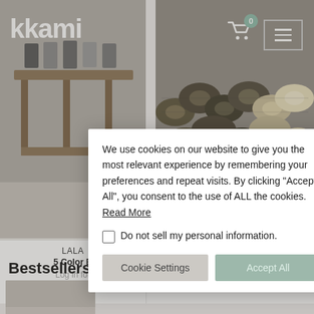[Figure (screenshot): kkami e-commerce website screenshot showing header with logo, product images of children's clothing, product cards for LALA and Oott Bebe brands, Bestsellers section, and a cookie consent popup dialog]
kkami
LALA
5 Color B
Log in for
Oott Bebe
Bestsellers
We use cookies on our website to give you the most relevant experience by remembering your preferences and repeat visits. By clicking “Accept All”, you consent to the use of ALL the cookies. Read More
Do not sell my personal information.
Cookie Settings
Accept All